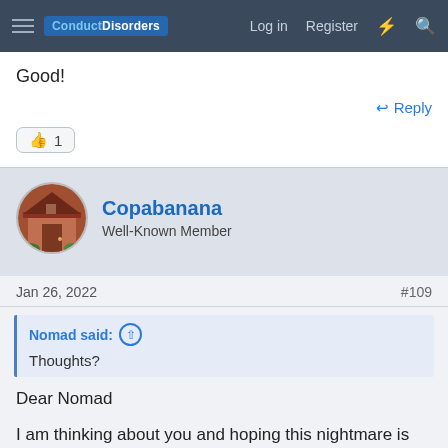ConductDisorders — Log in  Register
Good!
👍 1
Copabanana
Well-Known Member
Jan 26, 2022  #109
Nomad said: ↑
Thoughts?
Dear Nomad

I am thinking about you and hoping this nightmare is close to ending.